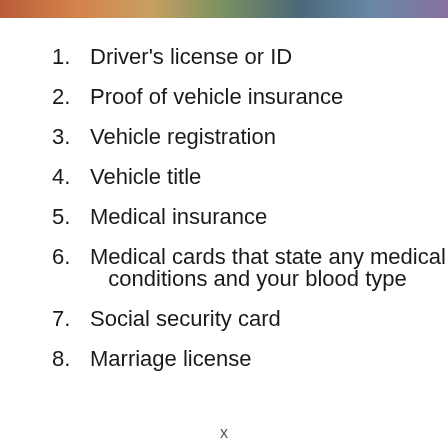[Figure (photo): Partial image strip at top of page showing people or objects, cropped]
1. Driver's license or ID
2. Proof of vehicle insurance
3. Vehicle registration
4. Vehicle title
5. Medical insurance
6. Medical cards that state any medical conditions and your blood type
7. Social security card
8. Marriage license